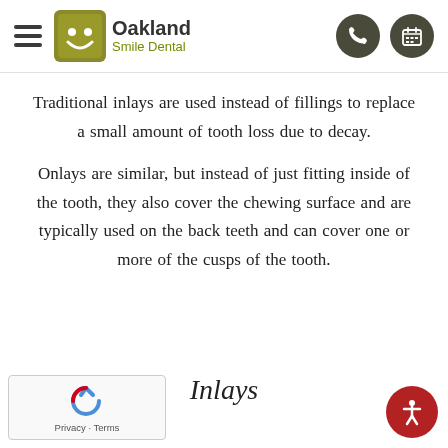Oakland Smile Dental — navigation header with hamburger menu, logo, phone and calendar icons
Traditional inlays are used instead of fillings to replace a small amount of tooth loss due to decay.
Onlays are similar, but instead of just fitting inside of the tooth, they also cover the chewing surface and are typically used on the back teeth and can cover one or more of the cusps of the tooth.
Inlays